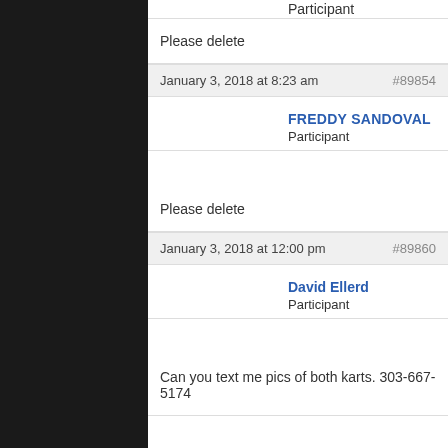Participant
Please delete
January 3, 2018 at 8:23 am  #89854
FREDDY SANDOVAL
Participant
Please delete
January 3, 2018 at 12:00 pm  #89860
David Ellerd
Participant
Can you text me pics of both karts. 303-667-5174